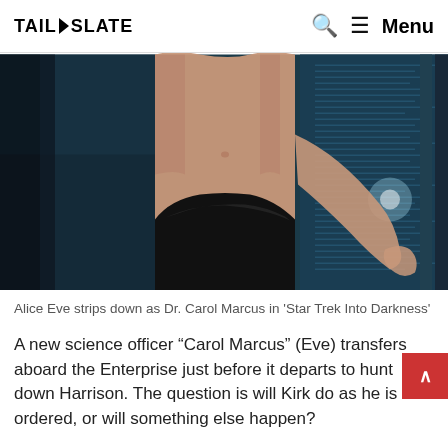TAIL SLATE | Menu
[Figure (photo): Alice Eve as Dr. Carol Marcus in Star Trek Into Darkness, showing her midriff in black underwear against a dark sci-fi background]
Alice Eve strips down as Dr. Carol Marcus in ‘Star Trek Into Darkness’
A new science officer “Carol Marcus” (Eve) transfers aboard the Enterprise just before it departs to hunt down Harrison. The question is will Kirk do as he is ordered, or will something else happen?